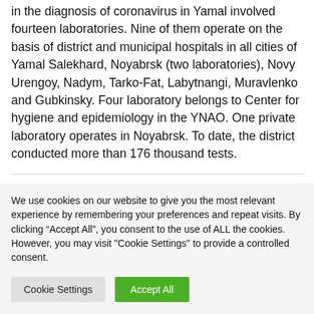in the diagnosis of coronavirus in Yamal involved fourteen laboratories. Nine of them operate on the basis of district and municipal hospitals in all cities of Yamal Salekhard, Noyabrsk (two laboratories), Novy Urengoy, Nadym, Tarko-Fat, Labytnangi, Muravlenko and Gubkinsky. Four laboratory belongs to Center for hygiene and epidemiology in the YNAO. One private laboratory operates in Noyabrsk. To date, the district conducted more than 176 thousand tests.
We use cookies on our website to give you the most relevant experience by remembering your preferences and repeat visits. By clicking “Accept All”, you consent to the use of ALL the cookies. However, you may visit "Cookie Settings" to provide a controlled consent.